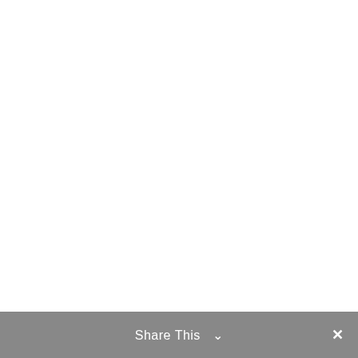e also available of many of the works. B
Share This ∨ ×